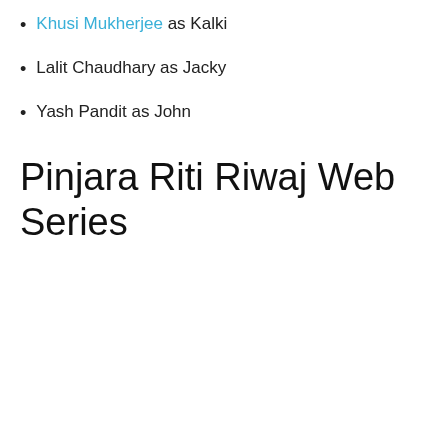Khusi Mukherjee as Kalki
Lalit Chaudhary as Jacky
Yash Pandit as John
Pinjara Riti Riwaj Web Series